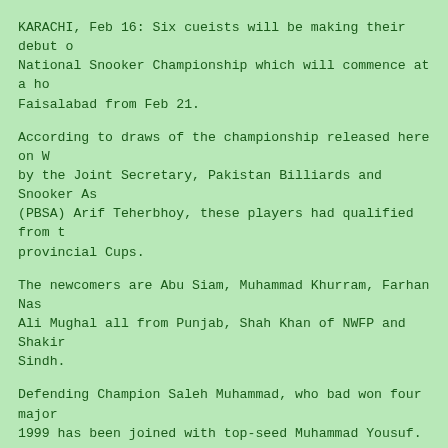KARACHI, Feb 16: Six cueists will be making their debut at the National Snooker Championship which will commence at a hotel in Faisalabad from Feb 21.
According to draws of the championship released here on Wednesday by the Joint Secretary, Pakistan Billiards and Snooker Association (PBSA) Arif Teherbhoy, these players had qualified from the provincial Cups.
The newcomers are Abu Siam, Muhammad Khurram, Farhan Nasir and Ali Mughal all from Punjab, Shah Khan of NWFP and Shakir from Sindh.
Defending Champion Saleh Muhammad, who bad won four major titles in 1999 has been joined with top-seed Muhammad Yousuf.
Farhan Mirza, Naveen Perwani, Khurram Agha are seeded two, three and four. Other seeded players are Muhammad Shafiq (5), Wasim (6) and Atiq Latif Bakhsh (7).
Former World Amateur Champion Yousuf is making his return to the national circuit after almost a year's absence. The PBSA had banned Yousuf for breach of code of conduct but later an amicable out-of-court settlement between Yousuf and PBSA enabled him to return to the national championship.
Muhammad Yousuf, 47, has dominated this competition, winning the crown for a record eight times, including six times in a